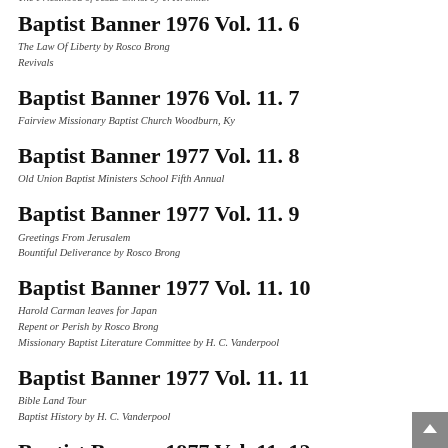The Priesthood of Jesus Christ by J. H. Smith
Baptist Banner 1976 Vol. 11. 6
The Law Of Liberty by Rosco Brong
Revivals
Baptist Banner 1976 Vol. 11. 7
Fairview Missionary Baptist Church Woodburn, Ky
Baptist Banner 1977 Vol. 11. 8
Old Union Baptist Ministers School Fifth Annual
Baptist Banner 1977 Vol. 11. 9
Greetings From Jerusalem
Bountiful Deliverance by Rosco Brong
Baptist Banner 1977 Vol. 11. 10
Harold Carman leaves for Japan
Repent or Perish by Rosco Brong
Missionary Baptist Literature Committee by H. C. Vanderpool
Baptist Banner 1977 Vol. 11. 11
Bible Land Tour
Baptist History by H. C. Vanderpool
Baptist Banner 1977 Vol. 11. 12
The Wicked Husbandmen by Gary Nicholas